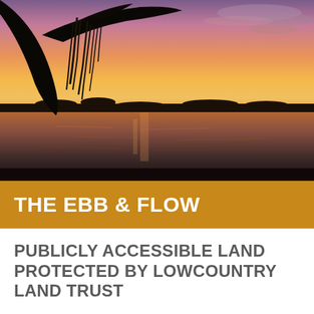[Figure (photo): Sunset landscape photo showing a silhouetted tree with Spanish moss on the left, a calm water body reflecting orange and purple sky, dark treeline on the horizon, and dramatic orange-to-purple gradient sunset sky with wispy clouds.]
THE EBB & FLOW
PUBLICLY ACCESSIBLE LAND PROTECTED BY LOWCOUNTRY LAND TRUST